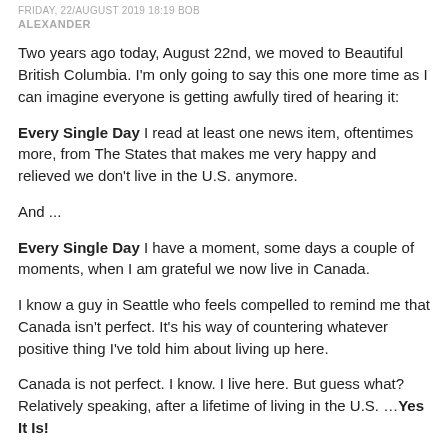FRIDAY, 22/AUGUST 2019 18:19 BOB ALEXANDER
Two years ago today, August 22nd, we moved to Beautiful British Columbia. I'm only going to say this one more time as I can imagine everyone is getting awfully tired of hearing it:
Every Single Day I read at least one news item, oftentimes more, from The States that makes me very happy and relieved we don't live in the U.S. anymore.
And ...
Every Single Day I have a moment, some days a couple of moments, when I am grateful we now live in Canada.
I know a guy in Seattle who feels compelled to remind me that Canada isn't perfect. It's his way of countering whatever positive thing I've told him about living up here.
Canada is not perfect. I know. I live here. But guess what? Relatively speaking, after a lifetime of living in the U.S. ...Yes It Is!